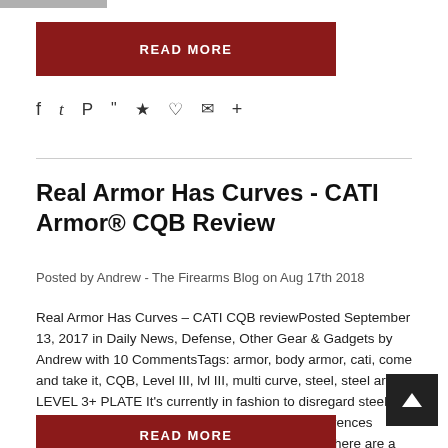[Figure (other): Gray bar at top of page]
READ MORE
[Figure (infographic): Social sharing icons: Facebook, Twitter, Pinterest, Grid/Apps, Bookmark, Heart/Like, Email, Plus]
Real Armor Has Curves - CATI Armor® CQB Review
Posted by Andrew - The Firearms Blog on Aug 17th 2018
Real Armor Has Curves – CATI CQB reviewPosted September 13, 2017 in Daily News, Defense, Other Gear & Gadgets by Andrew with 10 CommentsTags: armor, body armor, cati, come and take it, CQB, Level III, lvl III, multi curve, steel, steel armor LEVEL 3+ PLATE It's currently in fashion to disregard steel armor. To be sure, there are some significant differences between steel and ceramic composite armor, but there are a few things that steel can indeed do better than ceramic composite. It
READ MORE